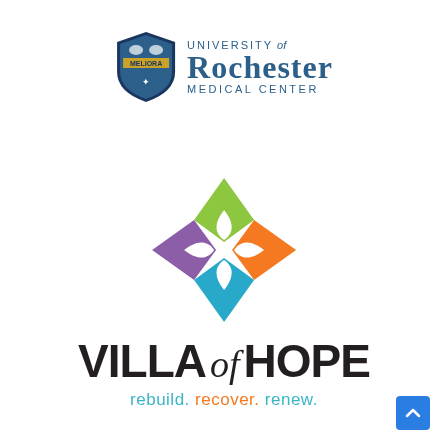[Figure (logo): University of Rochester Medical Center logo with shield crest and text]
[Figure (logo): Villa of Hope logo with colorful diamond/flower emblem, text 'VILLA of HOPE' and tagline 'rebuild. recover. renew.']